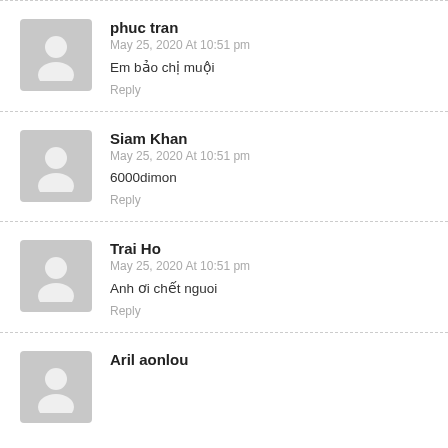phuc tran
May 25, 2020 At 10:51 pm
Em bảo chị muội
Reply
Siam Khan
May 25, 2020 At 10:51 pm
6000dimon
Reply
Trai Ho
May 25, 2020 At 10:51 pm
Anh ơi chết nguoi
Reply
Aril aonlou